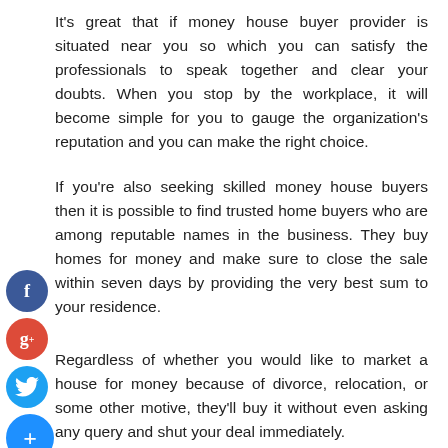It's great that if money house buyer provider is situated near you so which you can satisfy the professionals to speak together and clear your doubts. When you stop by the workplace, it will become simple for you to gauge the organization's reputation and you can make the right choice.
If you're also seeking skilled money house buyers then it is possible to find trusted home buyers who are among reputable names in the business. They buy homes for money and make sure to close the sale within seven days by providing the very best sum to your residence.
Regardless of whether you would like to market a house for money because of divorce, relocation, or some other motive, they'll buy it without even asking any query and shut your deal immediately.